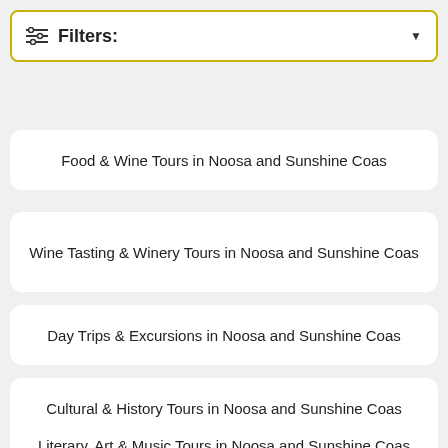Filters:
Food & Wine Tours in Noosa and Sunshine Coas
Wine Tasting & Winery Tours in Noosa and Sunshine Coas
Day Trips & Excursions in Noosa and Sunshine Coas
Cultural & History Tours in Noosa and Sunshine Coas
Literary, Art & Music Tours in Noosa and Sunshine Coas